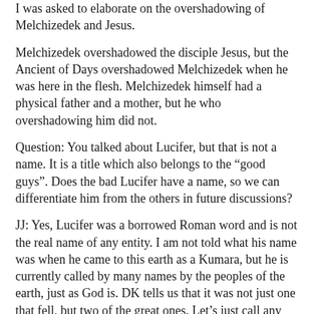I was asked to elaborate on the overshadowing of Melchizedek and Jesus.
Melchizedek overshadowed the disciple Jesus, but the Ancient of Days overshadowed Melchizedek when he was here in the flesh. Melchizedek himself had a physical father and a mother, but he who overshadowing him did not.
Question: You talked about Lucifer, but that is not a name. It is a title which also belongs to the “good guys”. Does the bad Lucifer have a name, so we can differentiate him from the others in future discussions?
JJ: Yes, Lucifer was a borrowed Roman word and is not the real name of any entity. I am not told what his name was when he came to this earth as a Kumara, but he is currently called by many names by the peoples of the earth, just as God is. DK tells us that it was not just one that fell, but two of the great ones. Let’s just call any fallen Lucifer an Adversary, for he is the adversary of free will.